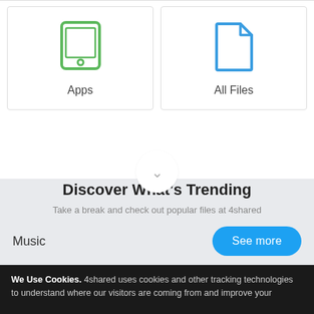[Figure (illustration): Card with green tablet/iPad icon labeled Apps]
Apps
[Figure (illustration): Card with blue document/file icon labeled All Files]
All Files
Discover What's Trending
Take a break and check out popular files at 4shared
Music
See more
We Use Cookies. 4shared uses cookies and other tracking technologies to understand where our visitors are coming from and improve your